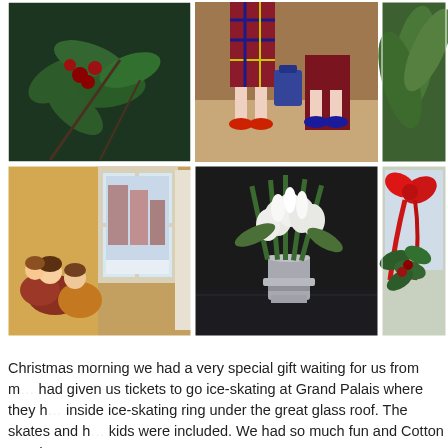[Figure (photo): Collage of 6 Christmas photos: holly with red berries, children in plaid skirts with red/blue shoes, green plant close-up, children sitting on floor looking out window to snowy street, white hyacinths in silver vase on dark marble table, red ribbon/bow with holly and berries]
Christmas morning we had a very special gift waiting for us from m... had given us tickets to go ice-skating at Grand Palais where they h... inside ice-skating ring under the great glass roof. The skates and h... kids were included. We had so much fun and Cotton Candy actua...